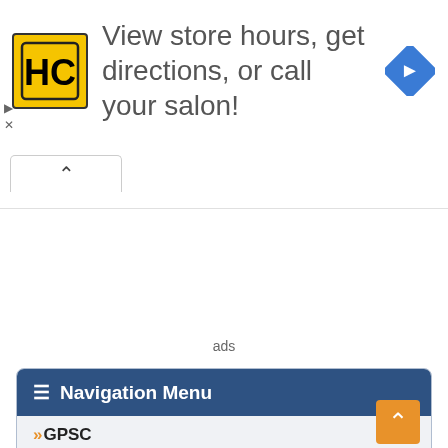[Figure (infographic): HC Haircuts advertisement banner: yellow HC logo, text 'View store hours, get directions, or call your salon!', blue navigation diamond icon]
ads
≡ Navigation Menu
»GPSC
»UPSC
»SSC
»GSSSB
»Bank Jobs
»Syllabus